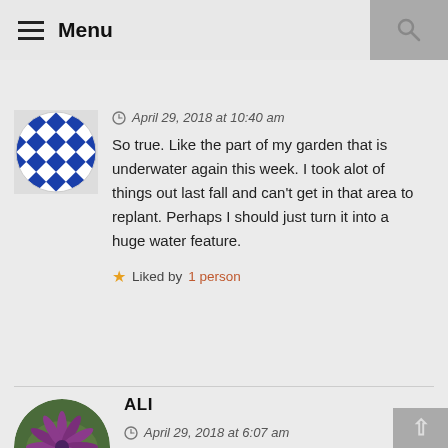≡ Menu
April 29, 2018 at 10:40 am
So true. Like the part of my garden that is underwater again this week. I took alot of things out last fall and can't get in that area to replant. Perhaps I should just turn it into a huge water feature.
★ Liked by 1 person
ALI
April 29, 2018 at 6:07 am
Just a little bit jealous that you can spend every day in your garden! It looks a wonderful place to be. Fab that you have got on with so much